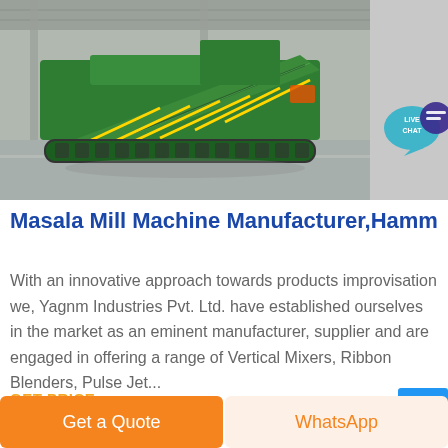[Figure (photo): Industrial machine (green crawler-mounted conveyor/crushing machine) inside a factory/warehouse]
Masala Mill Machine Manufacturer,Hammer...
With an innovative approach towards products improvisation we, Yagnm Industries Pvt. Ltd. have established ourselves in the market as an eminent manufacturer, supplier and are engaged in offering a range of Vertical Mixers, Ribbon Blenders, Pulse Jet...
GET PRICE
Get a Quote
WhatsApp